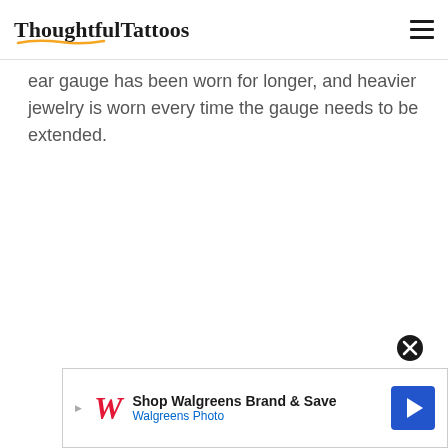ThoughtfulTattoos
ear gauge has been worn for longer, and heavier jewelry is worn every time the gauge needs to be extended.
[Figure (other): Advertisement banner: Shop Walgreens Brand & Save - Walgreens Photo, with Walgreens W logo and navigation arrow icon]